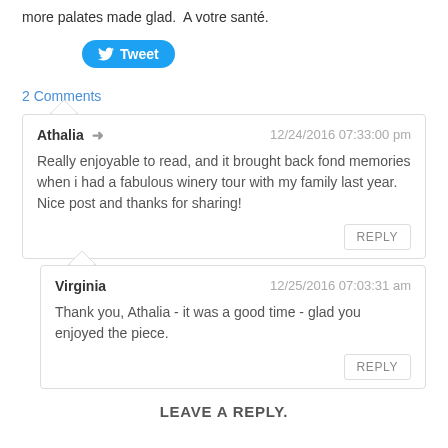more palates made glad.  A votre santé.
[Figure (other): Twitter Tweet button, blue rounded rectangle with bird icon]
2 Comments
Athalia ➜  12/24/2016 07:33:00 pm
Really enjoyable to read, and it brought back fond memories when i had a fabulous winery tour with my family last year. Nice post and thanks for sharing!
REPLY
Virginia  12/25/2016 07:03:31 am
Thank you, Athalia - it was a good time - glad you enjoyed the piece.
REPLY
LEAVE A REPLY.